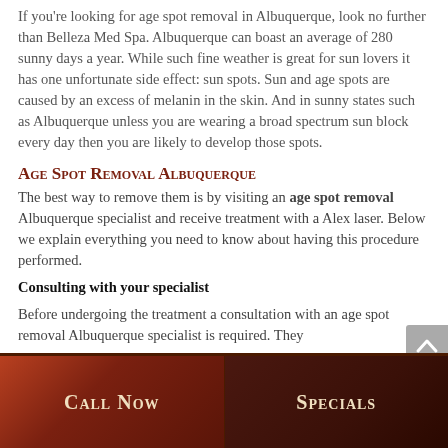If you're looking for age spot removal in Albuquerque, look no further than Belleza Med Spa. Albuquerque can boast an average of 280 sunny days a year. While such fine weather is great for sun lovers it has one unfortunate side effect: sun spots. Sun and age spots are caused by an excess of melanin in the skin. And in sunny states such as Albuquerque unless you are wearing a broad spectrum sun block every day then you are likely to develop those spots.
Age Spot Removal Albuquerque
The best way to remove them is by visiting an age spot removal Albuquerque specialist and receive treatment with a Alex laser. Below we explain everything you need to know about having this procedure performed.
Consulting with your specialist
Before undergoing the treatment a consultation with an age spot removal Albuquerque specialist is required. They
Call Now | Specials